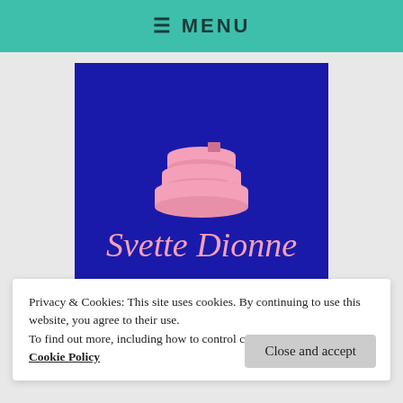≡ MENU
[Figure (logo): Blue rectangular logo with stacked pink books illustration and pink cursive text reading 'Svette Dionne']
Privacy & Cookies: This site uses cookies. By continuing to use this website, you agree to their use.
To find out more, including how to control cookies, see here: Cookie Policy
Close and accept